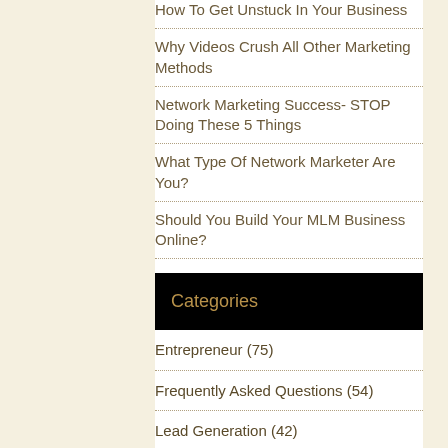How To Get Unstuck In Your Business
Why Videos Crush All Other Marketing Methods
Network Marketing Success- STOP Doing These 5 Things
What Type Of Network Marketer Are You?
Should You Build Your MLM Business Online?
Categories
Entrepreneur (75)
Frequently Asked Questions (54)
Lead Generation (42)
Leadership (21)